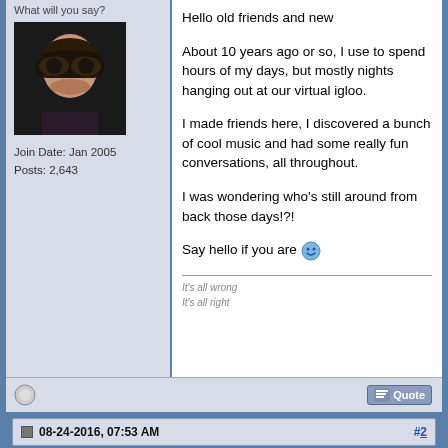What will you say?
[Figure (photo): Avatar photo of a woman wearing large sunglasses]
Join Date: Jan 2005
Posts: 2,643
Hello old friends and new

About 10 years ago or so, I use to spend hours of my days, but mostly nights hanging out at our virtual igloo.

I made friends here, I discovered a bunch of cool music and had some really fun conversations, all throughout.

I was wondering who's still around from back those days!?!

Say hello if you are 😊
It's all wrong
It's all right
08-24-2016, 07:53 AM  #2